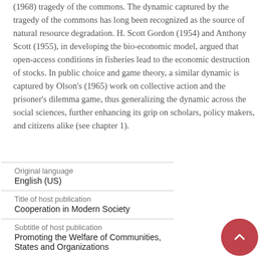(1968) tragedy of the commons. The dynamic captured by the tragedy of the commons has long been recognized as the source of natural resource degradation. H. Scott Gordon (1954) and Anthony Scott (1955), in developing the bio-economic model, argued that open-access conditions in fisheries lead to the economic destruction of stocks. In public choice and game theory, a similar dynamic is captured by Olson's (1965) work on collective action and the prisoner's dilemma game, thus generalizing the dynamic across the social sciences, further enhancing its grip on scholars, policy makers, and citizens alike (see chapter 1).
| Original language | English (US) |
| Title of host publication | Cooperation in Modern Society |
| Subtitle of host publication | Promoting the Welfare of Communities,
States and Organizations |